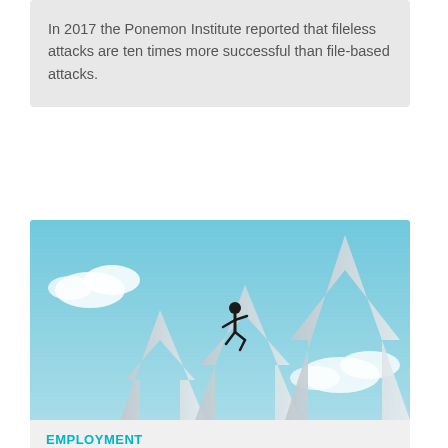In 2017 the Ponemon Institute reported that fileless attacks are ten times more successful than file-based attacks.
[Figure (photo): A person running/jumping across large upward-pointing white arrows against a teal/cyan sky background with clouds — symbolizing growth and career advancement.]
EMPLOYMENT
NZ high-demand tech skills requiring premium salary
Recruitment agency Beyond Recruitment has released its salary guide for the technology